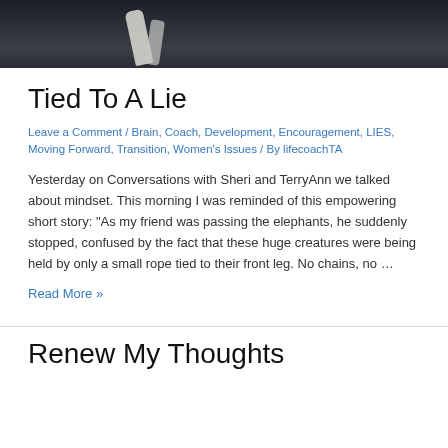[Figure (photo): Dark photograph with white rope or bird element against dark rocky/earthy background]
Tied To A Lie
Leave a Comment / Brain, Coach, Development, Encouragement, LIES, Moving Forward, Transition, Women's Issues / By lifecoachTA
Yesterday on Conversations with Sheri and TerryAnn we talked about mindset. This morning I was reminded of this empowering short story: “As my friend was passing the elephants, he suddenly stopped, confused by the fact that these huge creatures were being held by only a small rope tied to their front leg. No chains, no …
Read More »
Renew My Thoughts